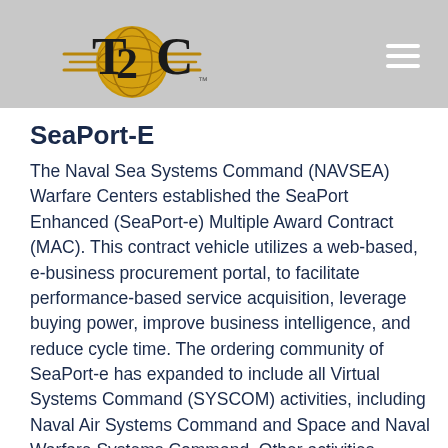T2C logo and navigation menu
SeaPort-E
The Naval Sea Systems Command (NAVSEA) Warfare Centers established the SeaPort Enhanced (SeaPort-e) Multiple Award Contract (MAC).  This contract vehicle utilizes a web-based, e-business procurement portal, to facilitate performance-based service acquisition, leverage buying power, improve business intelligence, and reduce cycle time.  The ordering community of SeaPort-e has expanded to include all Virtual Systems Command (SYSCOM) activities, including Naval Air Systems Command and Space and Naval Warfare Systems Command.  Other activities, including the Office of Naval Research, Military Sealift Command, Strategic Systems...